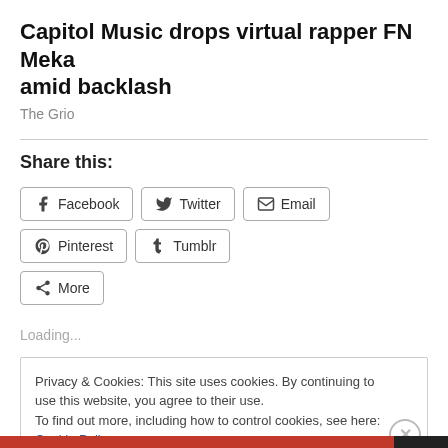Capitol Music drops virtual rapper FN Meka amid backlash
The Grio
Share this:
Facebook  Twitter  Email  Pinterest  Tumblr  More
Loading...
Privacy & Cookies: This site uses cookies. By continuing to use this website, you agree to their use.
To find out more, including how to control cookies, see here: Cookie Policy
Close and accept